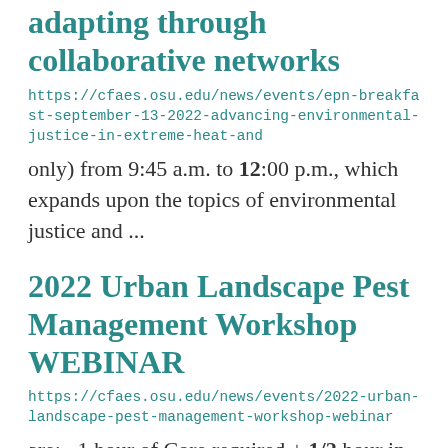adapting through collaborative networks
https://cfaes.osu.edu/news/events/epn-breakfast-september-13-2022-advancing-environmental-justice-in-extreme-heat-and
only) from 9:45 a.m. to 12:00 p.m., which expands upon the topics of environmental justice and ...
2022 Urban Landscape Pest Management Workshop WEBINAR
https://cfaes.osu.edu/news/events/2022-urban-landscape-pest-management-workshop-webinar
are:   1 hour of Core required + 1/2 hour in each category on applicator license